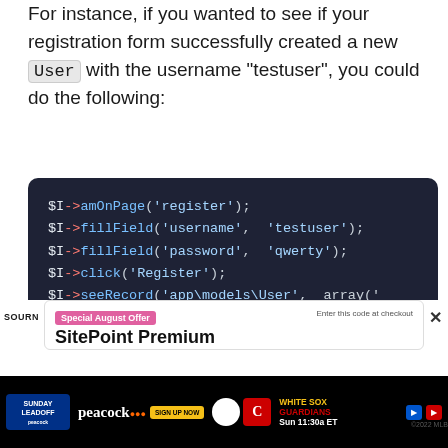For instance, if you wanted to see if your registration form successfully created a new User with the username "testuser", you could do the following:
[Figure (screenshot): Dark-themed code block showing PHP Codeception test code: $I->amOnPage('register'); $I->fillField('username', 'testuser'); $I->fillField('password', 'qwerty'); $I->click('Register'); $I->seeRecord('app\models\User', array(']
[Figure (screenshot): SitePoint Premium Special August Offer advertisement and Peacock Sunday Leadoff MLB advertisement banner at bottom of page]